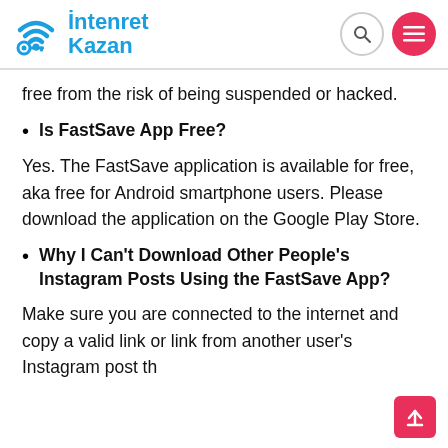İntenret Kazan
free from the risk of being suspended or hacked.
Is FastSave App Free?
Yes. The FastSave application is available for free, aka free for Android smartphone users. Please download the application on the Google Play Store.
Why I Can't Download Other People's Instagram Posts Using the FastSave App?
Make sure you are connected to the internet and copy a valid link or link from another user's Instagram post th…